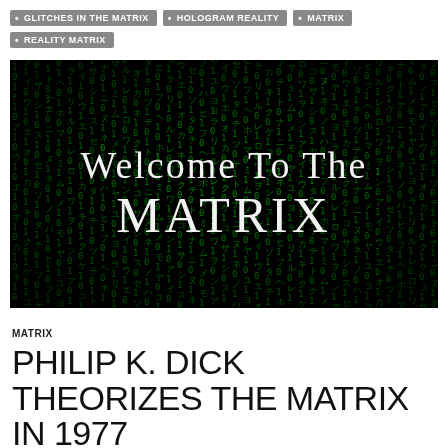GLITCHES IN THE MATRIX
HOLOGRAM REALITY
MATRIX
REALITY MATRIX
[Figure (illustration): Dark background with falling green digital rain characters (Matrix-style), with large white serif text overlay reading 'Welcome To The MATRIX']
MATRIX
PHILIP K. DICK THEORIZES THE MATRIX IN 1977